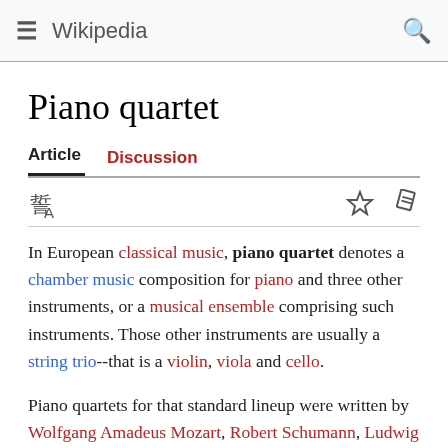≡ Wikipedia 🔍
Piano quartet
Article  Discussion
In European classical music, piano quartet denotes a chamber music composition for piano and three other instruments, or a musical ensemble comprising such instruments. Those other instruments are usually a string trio--that is a violin, viola and cello.
Piano quartets for that standard lineup were written by Wolfgang Amadeus Mozart, Robert Schumann, Ludwig van Beethoven, Johannes Brahms, Antonín Dvořák and Gabriel Fauré among others. In the 20th century